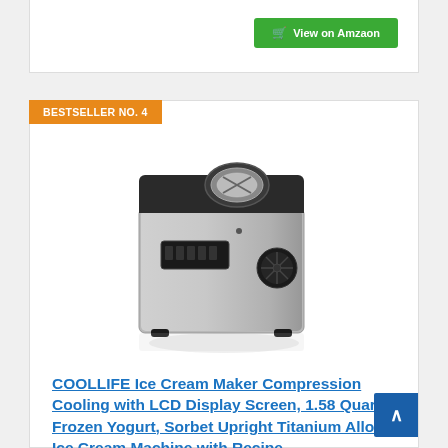View on Amzaon
BESTSELLER NO. 4
[Figure (photo): COOLLIFE Ice Cream Maker machine - silver/stainless steel box-shaped appliance with black top panel featuring a circular opening, LCD display on front, and ventilation fan on the right side]
COOLLIFE Ice Cream Maker Compression Cooling with LCD Display Screen, 1.58 Quart Frozen Yogurt, Sorbet Upright Titanium Alloy Ice Cream Machine with Recipe